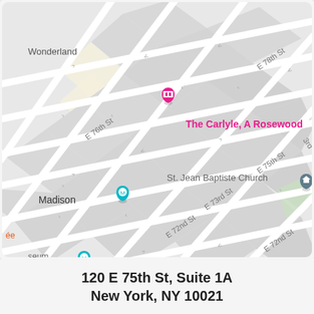[Figure (map): Google Maps screenshot showing Upper East Side Manhattan, New York. Streets visible include E 72nd St, E 73rd St, E 75th St, E 76th St, E 78th St, and Park Ave. Landmarks marked include The Carlyle A Rosewood Hotel (pink pin), Madison (teal pin), 77 St subway station (blue M), St. Jean Baptiste Church (gray cross pin), JG Melon (orange fork/knife pin), Nordstrom Local Upper East Side (blue bag pin), THEP Thai (partial, orange), Up Thai (orange fork/knife pin), seum (teal pin, partial), and a graduate hat pin (gray). Street labels are diagonal, city blocks shown in light beige and gray.]
120 E 75th St, Suite 1A
New York, NY 10021